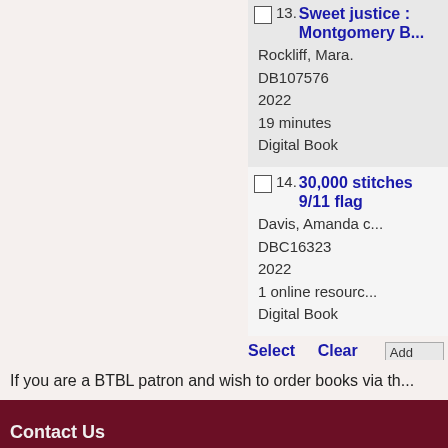Sweet justice : ... Montgomery B... Rockliff, Mara. DB107576 2022 19 minutes Digital Book
14. 30,000 stitches 9/11 flag Davis, Amanda c DBC16323 2022 1 online resource Digital Book
Select All  Clear All  Add Se...
If you are a BTBL patron and wish to order books via th...
Contact Us